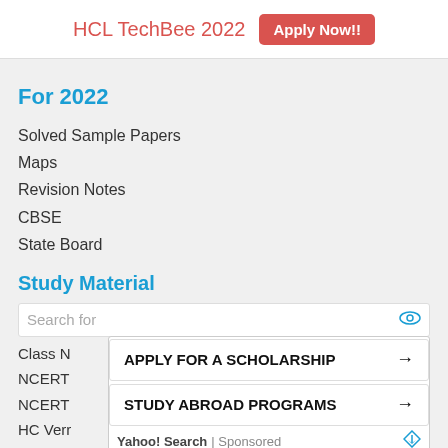HCL TechBee 2022  Apply Now!!
For 2022
Solved Sample Papers
Maps
Revision Notes
CBSE
State Board
Study Material
Search for
Class N
NCERT
NCERT
HC Verr
APPLY FOR A SCHOLARSHIP →
STUDY ABROAD PROGRAMS →
Yahoo! Search | Sponsored